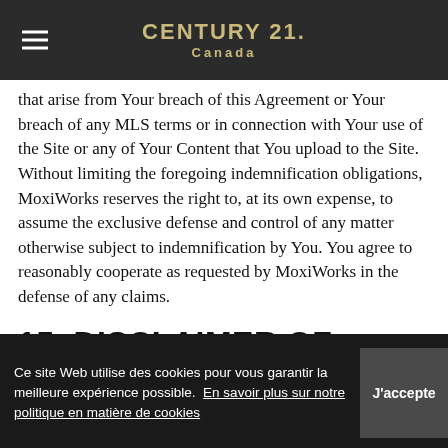CENTURY 21. Canada
that arise from Your breach of this Agreement or Your breach of any MLS terms or in connection with Your use of the Site or any of Your Content that You upload to the Site. Without limiting the foregoing indemnification obligations, MoxiWorks reserves the right to, at its own expense, to assume the exclusive defense and control of any matter otherwise subject to indemnification by You. You agree to reasonably cooperate as requested by MoxiWorks in the defense of any claims.
15. DISCLAIMER OF WARRANTIES; LIMITATIONS ON LIABILITY
Ce site Web utilise des cookies pour vous garantir la meilleure expérience possible. En savoir plus sur notre politique en matière de cookies  J'accepte